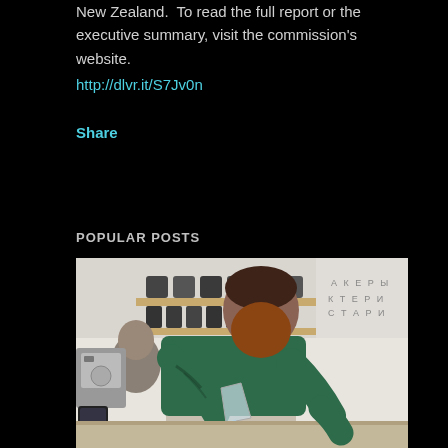New Zealand. To read the full report or the executive summary, visit the commission's website.
http://dlvr.it/S7Jv0n
Share
POPULAR POSTS
[Figure (photo): A bearded barista with tattoos wearing a green shirt and apron, pouring liquid from a glass carafe into a vessel. Background shows shelves with bottles in a cafe setting.]